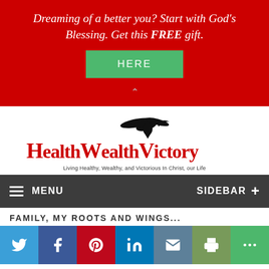Dreaming of a better you? Start with God's Blessing. Get this FREE gift.
HERE
[Figure (logo): HealthWealthVictory logo with eagle silhouette in red script text]
Living Healthy, Wealthy, and Victorious In Christ, our Life
MENU
SIDEBAR +
FAMILY, MY ROOTS AND WINGS...
[Figure (infographic): Social media sharing bar with Twitter, Facebook, Pinterest, LinkedIn, Email, Print, and More buttons]